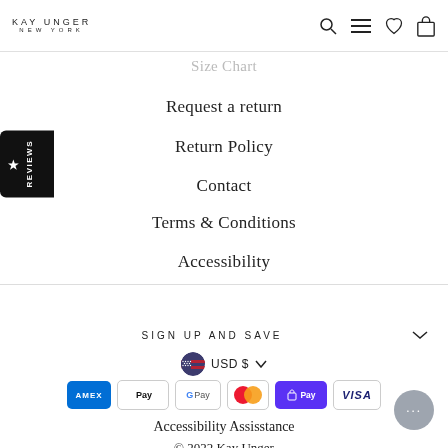KAY UNGER NEW YORK
Size Chart
Request a return
Return Policy
Contact
Terms & Conditions
Accessibility
SIGN UP AND SAVE
USD $
[Figure (other): Payment method icons: American Express, Apple Pay, Google Pay, Mastercard, Shop Pay, Visa]
Accessibility Assisstance
© 2022 Kay Unger